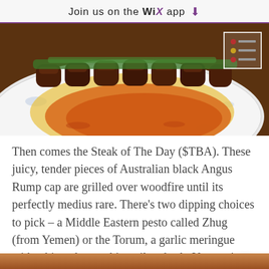Join us on the WiX app ⬇
[Figure (photo): A plate of grilled Australian black Angus Rump cap pieces garnished with green herbs, served on a white floral plate with orange/red sauce, with a menu icon overlay in the top right corner.]
Then comes the Steak of The Day ($TBA). These juicy, tender pieces of Australian black Angus Rump cap are grilled over woodfire until its perfectly medius rare. There's two dipping choices to pick – a Middle Eastern pesto called Zhug (from Yemen) or the Torum, a garlic meringue with whipped egg white, oil and salt. You can't go wrong with either, personally.